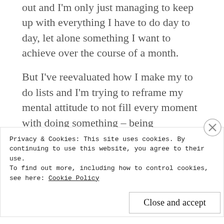out and I'm only just managing to keep up with everything I have to do day to day, let alone something I want to achieve over the course of a month.
But I've reevaluated how I make my to do lists and I'm trying to reframe my mental attitude to not fill every moment with doing something – being 'productive' or pushing myself too far. It's clearly a work in progress because I went to a drive through car wash and whilst my car was being cleaned, I did my daily Duolingo lessons so I could
Privacy & Cookies: This site uses cookies. By continuing to use this website, you agree to their use.
To find out more, including how to control cookies, see here: Cookie Policy
Close and accept